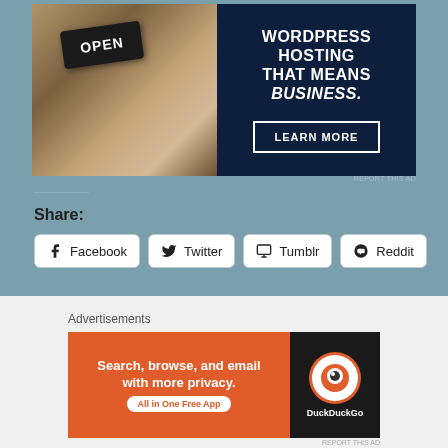[Figure (infographic): WordPress hosting advertisement banner with photo of person holding OPEN sign on left, and text 'WORDPRESS HOSTING THAT MEANS BUSINESS.' with LEARN MORE button on dark navy background on right]
REPORT THIS AD
Share:
Facebook
Twitter
Tumblr
Reddit
Pinterest
Email
WhatsApp
Loading...
Advertisements
[Figure (infographic): DuckDuckGo advertisement: orange left panel with text 'Search, browse, and email with more privacy. All in One Free App', dark right panel with DuckDuckGo logo and name]